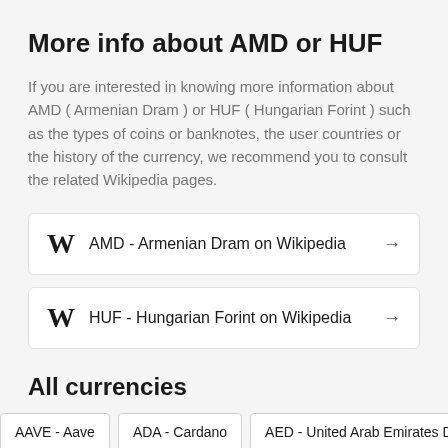More info about AMD or HUF
If you are interested in knowing more information about AMD ( Armenian Dram ) or HUF ( Hungarian Forint ) such as the types of coins or banknotes, the user countries or the history of the currency, we recommend you to consult the related Wikipedia pages.
AMD - Armenian Dram on Wikipedia →
HUF - Hungarian Forint on Wikipedia →
All currencies
AAVE - Aave
ADA - Cardano
AED - United Arab Emirates Dirham